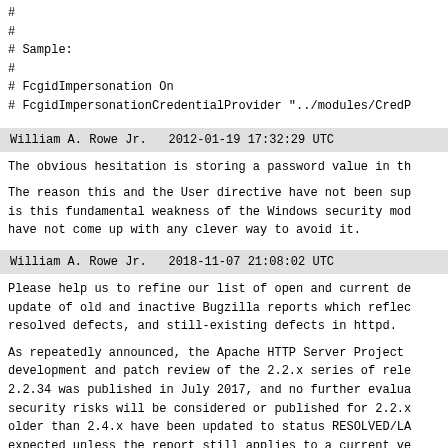#
#
# Sample:
#
# FcgidImpersonation On
# FcgidImpersonationCredentialProvider "../modules/CredP
William A. Rowe Jr.   2012-01-19 17:32:29 UTC
The obvious hesitation is storing a password value in th
The reason this and the User directive have not been sup
is this fundamental weakness of the Windows security mod
have not come up with any clever way to avoid it.
William A. Rowe Jr.   2018-11-07 21:08:02 UTC
Please help us to refine our list of open and current de
update of old and inactive Bugzilla reports which reflec
resolved defects, and still-existing defects in httpd.
As repeatedly announced, the Apache HTTP Server Project
development and patch review of the 2.2.x series of rele
2.2.34 was published in July 2017, and no further evalua
security risks will be considered or published for 2.2.x
older than 2.4.x have been updated to status RESOLVED/LA
expected unless the report still applies to a current ve